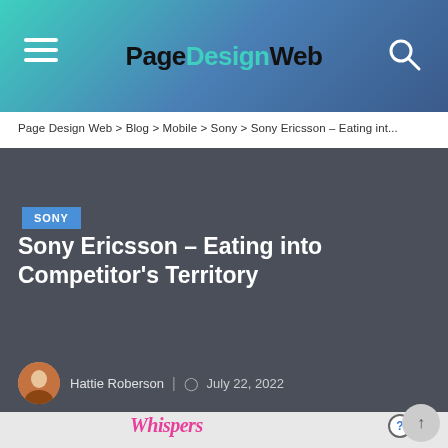Page Design Web
Page Design Web > Blog > Mobile > Sony > Sony Ericsson – Eating int...
SONY
Sony Ericsson – Eating into Competitor's Territory
Hattie Roberson | July 22, 2022
[Figure (photo): Advertisement banner for Whispers romance stories app showing a couple, with close and help icons in top right corner]